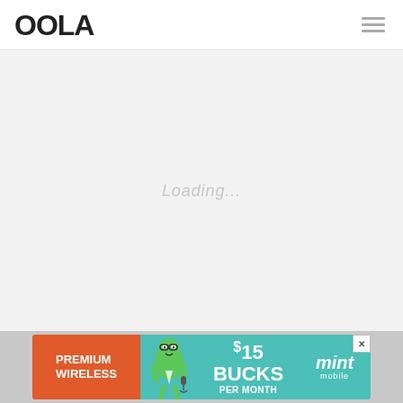[Figure (logo): OOLA website logo in bold black text]
[Figure (other): Hamburger menu icon (three horizontal lines) in the top-right corner of the header]
Loading...
[Figure (infographic): Advertisement banner for Mint Mobile: orange left panel with 'PREMIUM WIRELESS' text, teal/aqua panel with animated character, '$15 BUCKS PER MONTH' text, and Mint Mobile logo with close button]